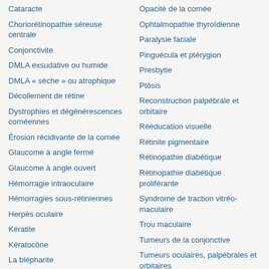Cataracte
Choriorétinopathie séreuse centrale
Conjonctivite
DMLA exsudative ou humide
DMLA « sèche » ou atrophique
Décollement de rétine
Dystrophies et dégénérescences cornéennes
Érosion récidivante de la cornée
Glaucome à angle fermé
Glaucome à angle ouvert
Hémorragie intraoculaire
Hémorragies sous-rétiniennes
Herpès oculaire
Kératite
Kératocône
La blépharite
Larmoiement excessif de l'œil
Opacité de la cornée
Ophtalmopathie thyroïdienne
Paralysie faciale
Pinguécula et ptérygion
Presbytie
Ptôsis
Reconstruction palpébrale et orbitaire
Rééducation visuelle
Rétinite pigmentaire
Rétinopathie diabétique
Rétinopathie diabétique proliférante
Syndrome de traction vitréo-maculaire
Trou maculaire
Tumeurs de la conjonctive
Tumeurs oculaires, palpébrales et orbitaires